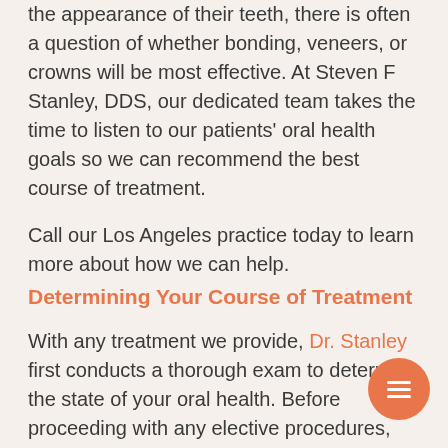the appearance of their teeth, there is often a question of whether bonding, veneers, or crowns will be most effective. At Steven F Stanley, DDS, our dedicated team takes the time to listen to our patients' oral health goals so we can recommend the best course of treatment.
Call our Los Angeles practice today to learn more about how we can help.
Determining Your Course of Treatment
With any treatment we provide, Dr. Stanley first conducts a thorough exam to determine the state of your oral health. Before proceeding with any elective procedures, we first recommend addressing any areas of concern so you are in good dental health before improving your appearance.